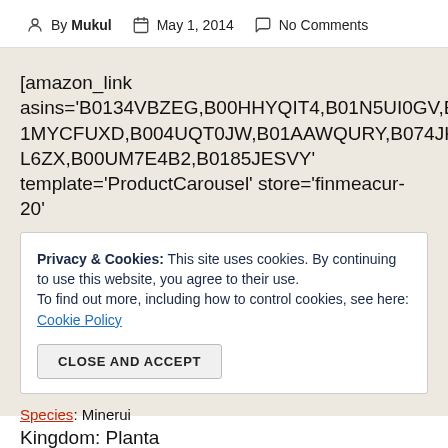By Mukul   May 1, 2014   No Comments
[amazon_link asins='B0134VBZEG,B00HHYQIT4,B01N5UI0GV,B01MYCFUXD,B004UQT0JW,B01AAWQURY,B074JKL6ZX,B00UM7E4B2,B0185JESVY' template='ProductCarousel' store='finmeacur-20'
Privacy & Cookies: This site uses cookies. By continuing to use this website, you agree to their use.
To find out more, including how to control cookies, see here: Cookie Policy
CLOSE AND ACCEPT
Species: Minerui
Kingdom: Planta